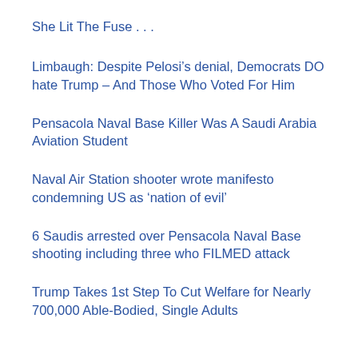She Lit The Fuse . . .
Limbaugh: Despite Pelosi’s denial, Democrats DO hate Trump – And Those Who Voted For Him
Pensacola Naval Base Killer Was A Saudi Arabia Aviation Student
Naval Air Station shooter wrote manifesto condemning US as ‘nation of evil’
6 Saudis arrested over Pensacola Naval Base shooting including three who FILMED attack
Trump Takes 1st Step To Cut Welfare for Nearly 700,000 Able-Bodied, Single Adults